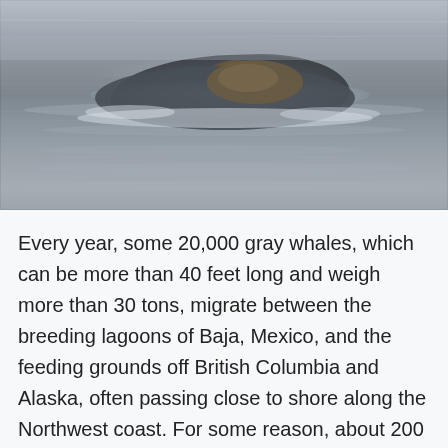[Figure (photo): A gray whale partially surfaced in gray ocean water, with barnacles visible on its back. The whale's dark body emerges just above the waterline, surrounded by rippling water.]
Every year, some 20,000 gray whales, which can be more than 40 feet long and weigh more than 30 tons, migrate between the breeding lagoons of Baja, Mexico, and the feeding grounds off British Columbia and Alaska, often passing close to shore along the Northwest coast. For some reason, about 200 of these whales annually cut